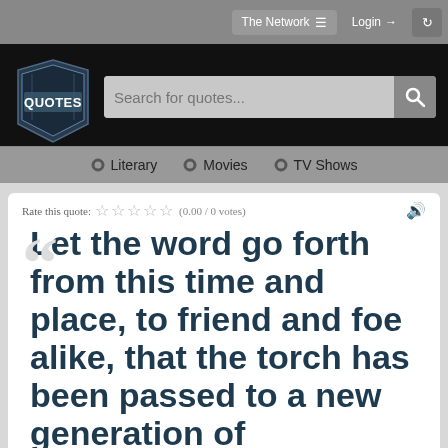[Figure (screenshot): Website screenshot of a quotes website with navigation bar, logo, search bar, and a large quote displayed.]
The Network  Login
Search for quotes...
Literary  Movies  TV Shows
Rate this quote: (0.00 / 0 votes)
Let the word go forth from this time and place, to friend and foe alike, that the torch has been passed to a new generation of Americans